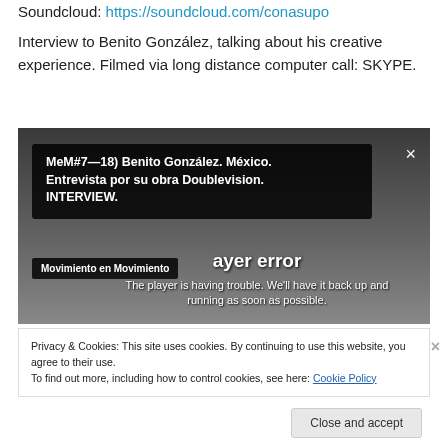Soundcloud: https://soundcloud.com/conasupo
Interview to Benito González, talking about his creative experience. Filmed via long distance computer call: SKYPE.
[Figure (screenshot): Video player screenshot showing MeM#7—18) Benito González. México. Entrevista por su obra Doublevision. INTERVIEW. with a player error overlay and Movimiento en Movimiento channel badge.]
Privacy & Cookies: This site uses cookies. By continuing to use this website, you agree to their use.
To find out more, including how to control cookies, see here: Cookie Policy